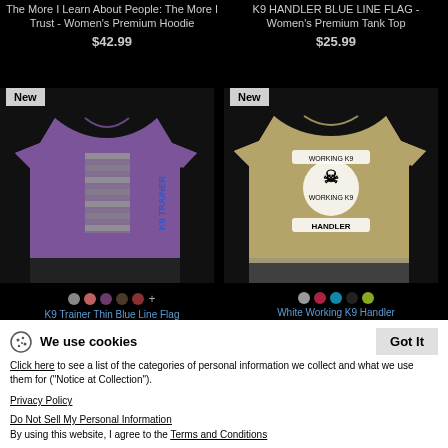The More I Learn About People: The More I Trust - Women's Premium Hoodie
$42.99
K9 HANDLER BLUE LINE FLAG - Women's Premium Tank Top
$25.99
[Figure (photo): Purple women's t-shirt with American flag and K9 TRAINER text on back, with New badge]
[Figure (photo): Khaki men's t-shirt with Working K9 Handler skull and paw print design on back, with New badge]
K9 Trainer Thin Blue Line Flag
White Working K9 Handler
$21.99
$21.99
We use cookies
Click here to see a list of the categories of personal information we collect and what we use them for ("Notice at Collection").
Privacy Policy
Do Not Sell My Personal Information
By using this website, I agree to the Terms and Conditions